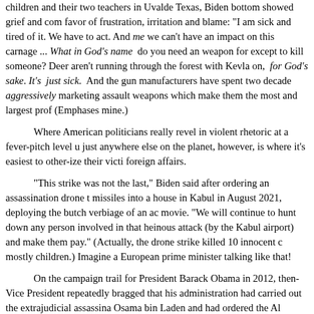children and their two teachers in Uvalde Texas, Biden bottom showed grief and com favor of frustration, irritation and blame: "I am sick and tired of it. We have to act. And me we can't have an impact on this carnage ... What in God's name do you need an weapon for except to kill someone? Deer aren't running through the forest with Kevla on, for God's sake. It's just sick. And the gun manufacturers have spent two decade aggressively marketing assault weapons which make them the most and largest prof (Emphases mine.)
Where American politicians really revel in violent rhetoric at a fever-pitch level u just anywhere else on the planet, however, is where it's easiest to other-ize their victi foreign affairs.
"This strike was not the last," Biden said after ordering an assassination drone t missiles into a house in Kabul in August 2021, deploying the butch verbiage of an ac movie. "We will continue to hunt down any person involved in that heinous attack (by the Kabul airport) and make them pay." (Actually, the drone strike killed 10 innocent c mostly children.) Imagine a European prime minister talking like that!
On the campaign trail for President Barack Obama in 2012, then-Vice President repeatedly bragged that his administration had carried out the extrajudicial assassina Osama bin Laden and had ordered the Al Qaeda chief murdered after he was captur "You want to know whether we're better off?" Biden asked a cheering crowd of 3,500 Detroit. "I've got a little bumper sticker for you: Osama bin Laden is dead and Genera is alive." Charming.
For Americans, violence is the go-to solution to many foreign crises even when